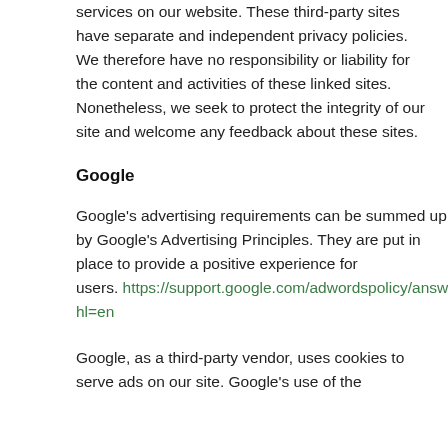services on our website. These third-party sites have separate and independent privacy policies. We therefore have no responsibility or liability for the content and activities of these linked sites. Nonetheless, we seek to protect the integrity of our site and welcome any feedback about these sites.
Google
Google's advertising requirements can be summed up by Google's Advertising Principles. They are put in place to provide a positive experience for users. https://support.google.com/adwordspolicy/answer/ hl=en
Google, as a third-party vendor, uses cookies to serve ads on our site. Google's use of the